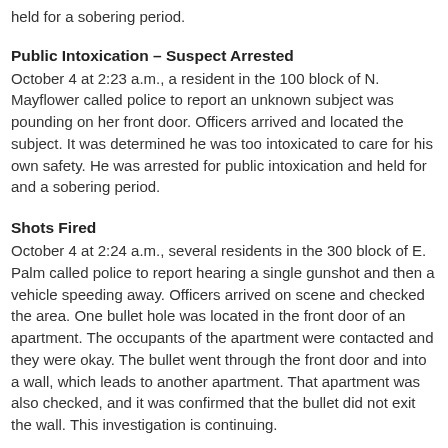held for a sobering period.
Public Intoxication – Suspect Arrested
October 4 at 2:23 a.m., a resident in the 100 block of N. Mayflower called police to report an unknown subject was pounding on her front door. Officers arrived and located the subject. It was determined he was too intoxicated to care for his own safety. He was arrested for public intoxication and held for and a sobering period.
Shots Fired
October 4 at 2:24 a.m., several residents in the 300 block of E. Palm called police to report hearing a single gunshot and then a vehicle speeding away. Officers arrived on scene and checked the area. One bullet hole was located in the front door of an apartment. The occupants of the apartment were contacted and they were okay. The bullet went through the front door and into a wall, which leads to another apartment. That apartment was also checked, and it was confirmed that the bullet did not exit the wall. This investigation is continuing.